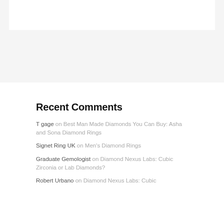Recent Comments
T gage on Best Man Made Diamonds You Can Buy: Asha and Sona Diamond Rings
Signet Ring UK on Men's Diamond Rings
Graduate Gemologist on Diamond Nexus Labs: Cubic Zirconia or Lab Diamonds?
Robert Urbano on Diamond Nexus Labs: Cubic